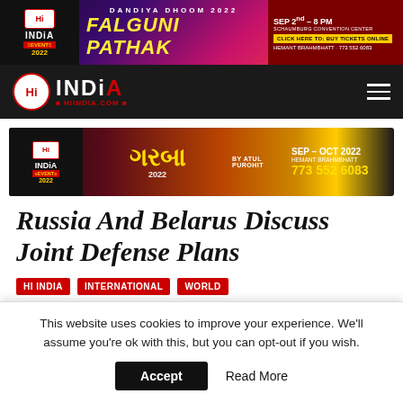[Figure (other): Hi India Event 2022 top advertisement banner for Dandiya Dhoom 2022 featuring Falguni Pathak, Sep 2nd 8PM, Schaumburg Convention Center, Buy Tickets Online, Hemant Brahmbhatt 773 552 6083]
[Figure (logo): Hi India website navigation bar with Hi India logo and HIINDIA.COM text on dark background with hamburger menu icon]
[Figure (other): Hi India Event 2022 Garba by Atul Purohit advertisement banner, Sep-Oct 2022, Hemant Brahmbhatt 773 552 6083]
Russia And Belarus Discuss Joint Defense Plans
HI INDIA
INTERNATIONAL
WORLD
This website uses cookies to improve your experience. We'll assume you're ok with this, but you can opt-out if you wish.